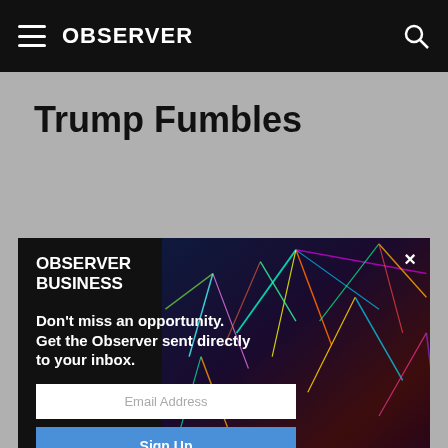OBSERVER
Trump Fumbles
[Figure (screenshot): Observer Business newsletter signup modal popup overlaid on page. Contains Observer Business logo, tagline 'Don't miss an opportunity. Get the Observer sent directly to your inbox.', email address input field, Sign Up button, and disclaimer text. Background shows colorful fireworks/light streaks image on right side.]
[Figure (photo): Bottom portion of a photograph showing a crowded stadium with people and what appears to be football players or officials on the field.]